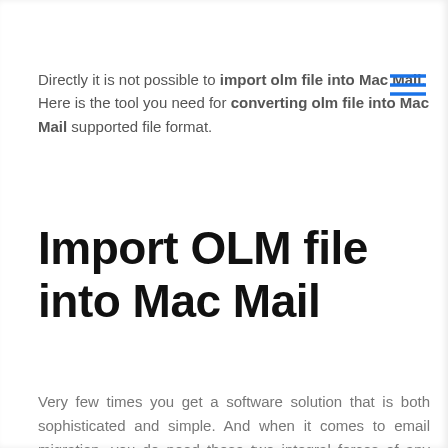Directly it is not possible to import olm file into Mac Mail. Here is the tool you need for converting olm file into Mac Mail supported file format.
Import OLM file into Mac Mail
Very few times you get a software solution that is both sophisticated and simple. And when it comes to email migration, you do need these two integral forces of any software that makes it great.
Sadly, most email migration tools are missing those.